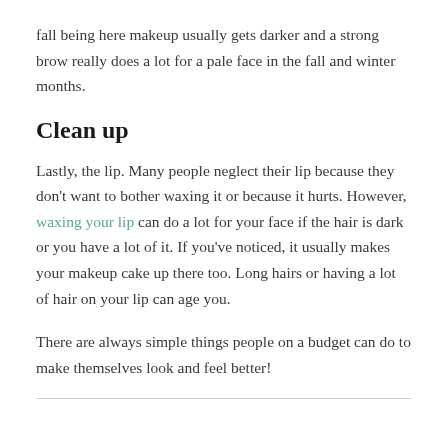fall being here makeup usually gets darker and a strong brow really does a lot for a pale face in the fall and winter months.
Clean up
Lastly, the lip. Many people neglect their lip because they don't want to bother waxing it or because it hurts. However, waxing your lip can do a lot for your face if the hair is dark or you have a lot of it. If you've noticed, it usually makes your makeup cake up there too. Long hairs or having a lot of hair on your lip can age you.
There are always simple things people on a budget can do to make themselves look and feel better!